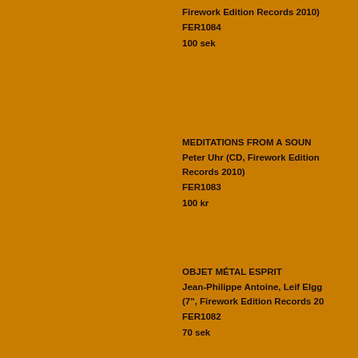Firework Edition Records 2010) FER1084

100 sek
MEDITATIONS FROM A SOUN Peter Uhr (CD, Firework Edition Records 2010) FER1083

100 kr
OBJET MÉTAL ESPRIT Jean-Philippe Antoine, Leif Elgg (7", Firework Edition Records 20 FER1082

70 sek